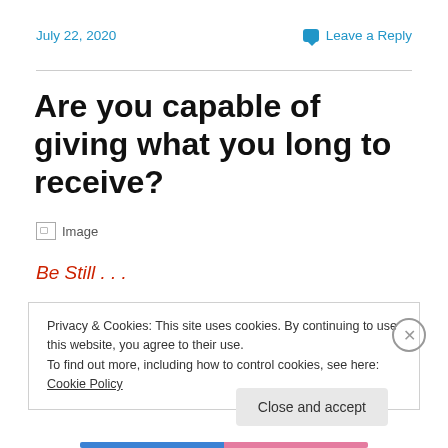July 22, 2020
Leave a Reply
Are you capable of giving what you long to receive?
[Figure (other): Broken image placeholder with alt text 'Image']
Be Still . . .
Privacy & Cookies: This site uses cookies. By continuing to use this website, you agree to their use.
To find out more, including how to control cookies, see here: Cookie Policy
Close and accept